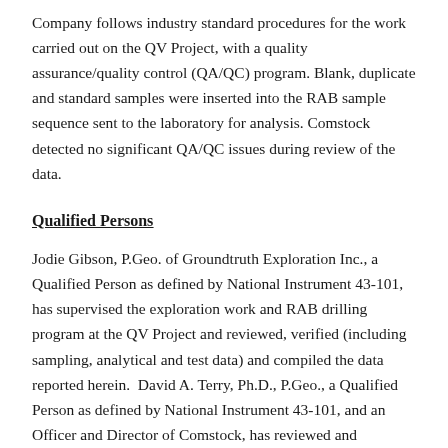Company follows industry standard procedures for the work carried out on the QV Project, with a quality assurance/quality control (QA/QC) program. Blank, duplicate and standard samples were inserted into the RAB sample sequence sent to the laboratory for analysis. Comstock detected no significant QA/QC issues during review of the data.
Qualified Persons
Jodie Gibson, P.Geo. of Groundtruth Exploration Inc., a Qualified Person as defined by National Instrument 43-101, has supervised the exploration work and RAB drilling program at the QV Project and reviewed, verified (including sampling, analytical and test data) and compiled the data reported herein.  David A. Terry, Ph.D., P.Geo., a Qualified Person as defined by National Instrument 43-101, and an Officer and Director of Comstock, has reviewed and approved the scientific and technical disclosure in this news release.